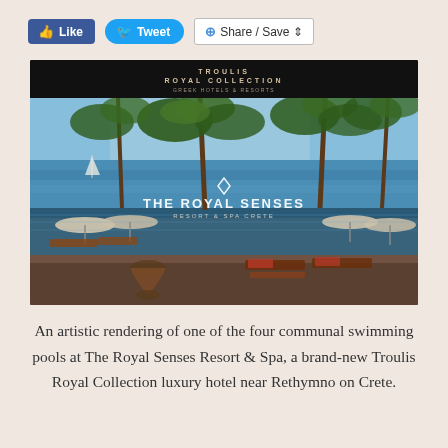[Figure (screenshot): Social media sharing buttons row: Facebook Like button (blue), Twitter Tweet button (blue rounded), and Share/Save button (white with border)]
[Figure (photo): An artistic rendering of a luxury resort pool area (The Royal Senses Resort & Spa, Crete) with palm trees, sun loungers, infinity pool, and ocean view. Troulis Royal Collection branding visible at top and center of the image.]
An artistic rendering of one of the four communal swimming pools at The Royal Senses Resort & Spa, a brand-new Troulis Royal Collection luxury hotel near Rethymno on Crete.